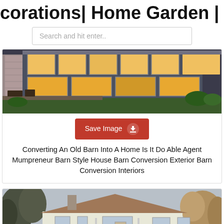corations| Home Garden | Home Fa
Search and hit enter..
[Figure (photo): Modern barn-style home with large glass windows and warm interior lighting at dusk, viewed from the garden]
Save Image
Converting An Old Barn Into A Home Is It Do Able Agent Mumpreneur Barn Style House Barn Conversion Exterior Barn Conversion Interiors
[Figure (photo): White ranch-style house with brown roof, chimney, small porch, surrounded by bare trees in winter/autumn]